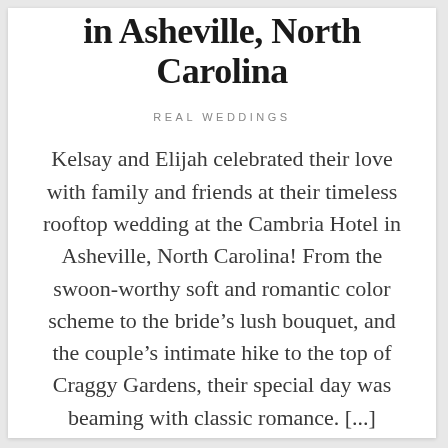in Asheville, North Carolina
REAL WEDDINGS
Kelsay and Elijah celebrated their love with family and friends at their timeless rooftop wedding at the Cambria Hotel in Asheville, North Carolina! From the swoon-worthy soft and romantic color scheme to the bride’s lush bouquet, and the couple’s intimate hike to the top of Craggy Gardens, their special day was beaming with classic romance. [...]